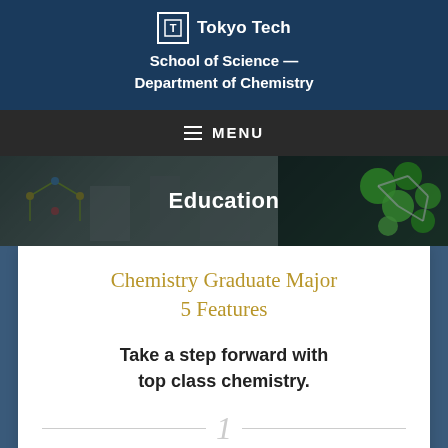Tokyo Tech — School of Science — Department of Chemistry
MENU
[Figure (screenshot): Hero banner with lab and molecular model images, 'Education' overlaid in white text]
Chemistry Graduate Major
5 Features
Take a step forward with
top class chemistry.
1
[Figure (photo): Laboratory equipment photo strip at the bottom]